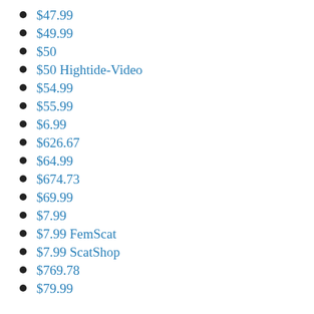$47.99
$49.99
$50
$50 Hightide-Video
$54.99
$55.99
$6.99
$626.67
$64.99
$674.73
$69.99
$7.99
$7.99 FemScat
$7.99 ScatShop
$769.78
$79.99